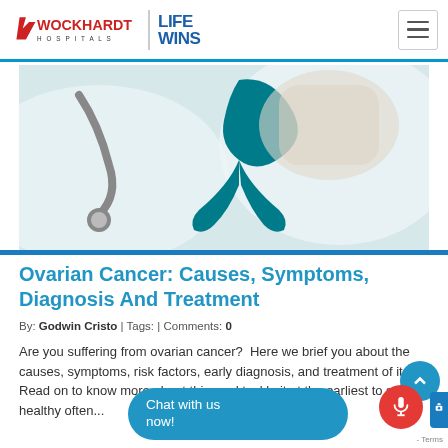[Figure (logo): Wockhardt Hospitals logo with 'Life Wins' tagline and hamburger menu icon]
[Figure (photo): Medical professional holding a teal awareness ribbon with stethoscope in background]
Ovarian Cancer: Causes, Symptoms, Diagnosis And Treatment
By: Godwin Cristo | Tags: | Comments: 0
Are you suffering from ovarian cancer?  Here we brief you about the causes, symptoms, risk factors, early diagnosis, and treatment of it. Read on to know more about this, and tackle it at the earliest to stay healthy often...